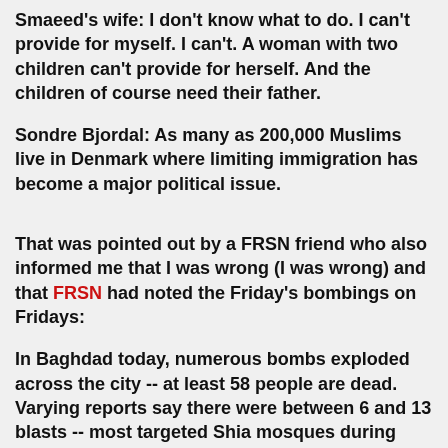Smaeed's wife: I don't know what to do. I can't provide for myself. I can't. A woman with two children can't provide for herself. And the children of course need their father.
Sondre Bjordal: As many as 200,000 Muslims live in Denmark where limiting immigration has become a major political issue.
That was pointed out by a FRSN friend who also informed me that I was wrong (I was wrong) and that FRSN had noted the Friday's bombings on Fridays:
In Baghdad today, numerous bombs exploded across the city -- at least 58 people are dead. Varying reports say there were between 6 and 13 blasts -- most targeted Shia mosques during Friday prayers. The blasts follow yesterday's announcement that yet another high level al Qaeda leader was recently detained. In the past week, US and Iraqi forces have killed at least three high level al Qaeda in Iraq leaders, and detained a number of others.